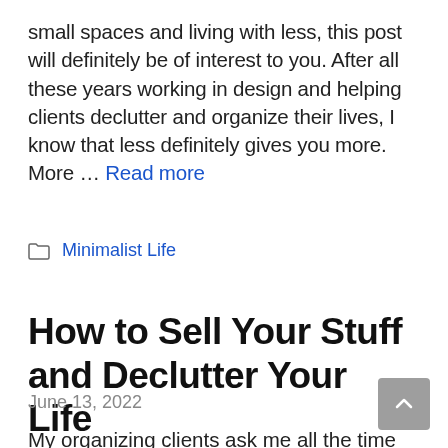small spaces and living with less, this post will definitely be of interest to you. After all these years working in design and helping clients declutter and organize their lives, I know that less definitely gives you more. More … Read more
Minimalist Life
How to Sell Your Stuff and Declutter Your Life
June 13, 2022
My organizing clients ask me all the time